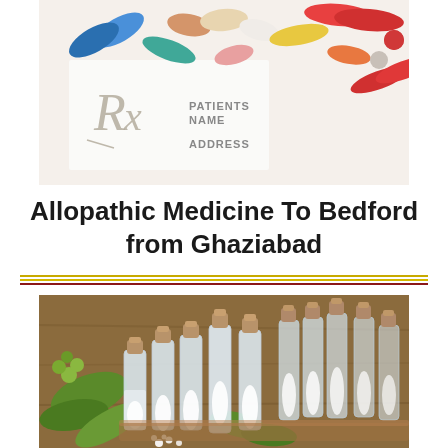[Figure (photo): Colorful pills and capsules scattered on a prescription pad with Rx symbol and fields for PATIENTS NAME and ADDRESS]
Allopathic Medicine To Bedford from Ghaziabad
[Figure (photo): Multiple small glass vials with cork stoppers filled with white homeopathic medicine beads, surrounded by green leaves on a wooden surface]